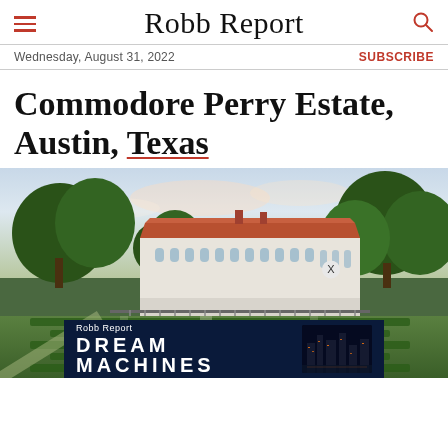Robb Report
Wednesday, August 31, 2022
SUBSCRIBE
Commodore Perry Estate, Austin, Texas
[Figure (photo): Aerial/wide view of Commodore Perry Estate in Austin, Texas — a grand white neoclassical building with a terracotta-tiled roof, arched windows, surrounded by manicured formal gardens with hedges, a fountain, and large oak trees under a soft sky.]
[Figure (other): Robb Report advertisement banner reading 'Robb Report DREAM MACHINES' on a dark navy background with cityscape imagery on the right.]